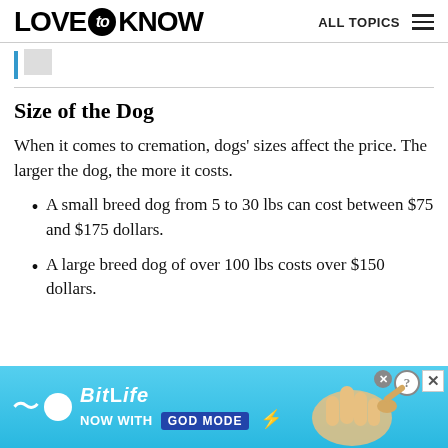LOVE to KNOW   ALL TOPICS
Size of the Dog
When it comes to cremation, dogs' sizes affect the price. The larger the dog, the more it costs.
A small breed dog from 5 to 30 lbs can cost between $75 and $175 dollars.
A large breed dog of over 100 lbs costs over $150 dollars.
[Figure (screenshot): BitLife advertisement banner — 'BitLife NOW WITH GOD MODE' on a blue gradient background with a hand pointing graphic and close/help controls.]